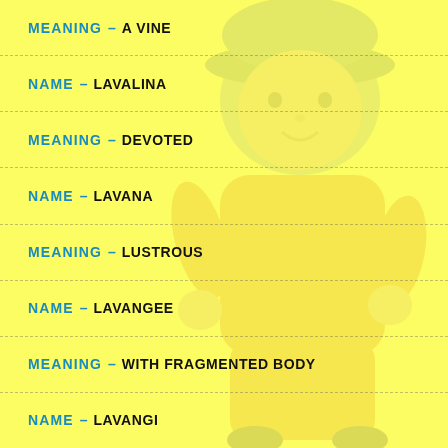MEANING – A VINE
NAME – LAVALINA
MEANING – DEVOTED
NAME – LAVANA
MEANING – LUSTROUS
NAME – LAVANGEE
MEANING – WITH FRAGMENTED BODY
NAME – LAVANGI